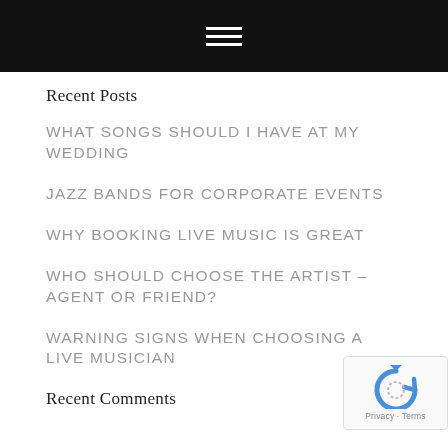☰ (hamburger menu icon)
Recent Posts
WHAT SONGS SHOULD I HAVE AT MY WEDDING
JAZZ BANDS FOR CORPORATE EVENTS
WHY BOOKING LIVE MUSIC IS GREAT
WHO SHOULD CHOOSE THE ARTIST – AGENT OR FRIEND?
WARNING SIGNS WHEN CHOOSING A LIVE MUSICIAN
Recent Comments